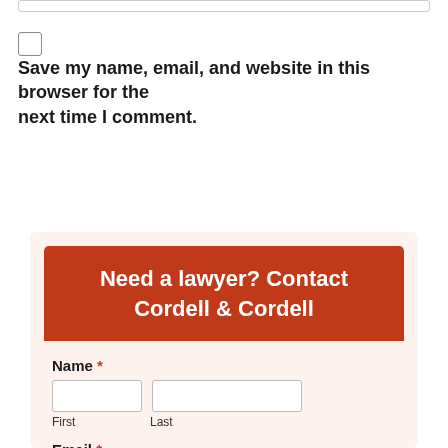Save my name, email, and website in this browser for the next time I comment.
Post Comment
[Figure (other): Contact form card with red header reading 'Need a lawyer? Contact Cordell & Cordell', followed by Name and Email fields]
Need a lawyer? Contact Cordell & Cordell
Name *
First
Last
Email *